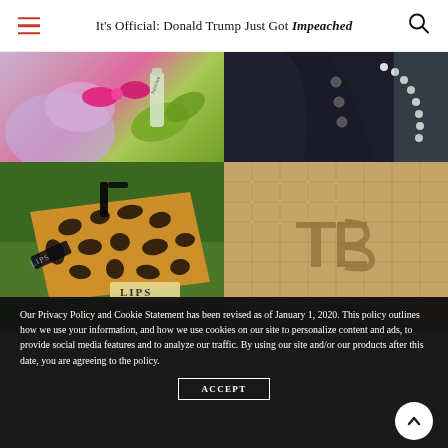It's Official: Donald Trump Just Got Impeached
[Figure (photo): Top-left: beauty/hair products with pink bow and green leaves]
[Figure (photo): Top-right: black jacket with pearl chain detail, dark background]
[Figure (photo): Bottom-left: leopard print makeup bag labeled LIPS on grass]
[Figure (photo): Bottom-right: Burberry quilted beige bag with TB monogram]
Our Privacy Policy and Cookie Statement has been revised as of January 1, 2020. This policy outlines how we use your information, and how we use cookies on our site to personalize content and ads, to provide social media features and to analyze our traffic. By using our site and/or our products after this date, you are agreeing to the policy.